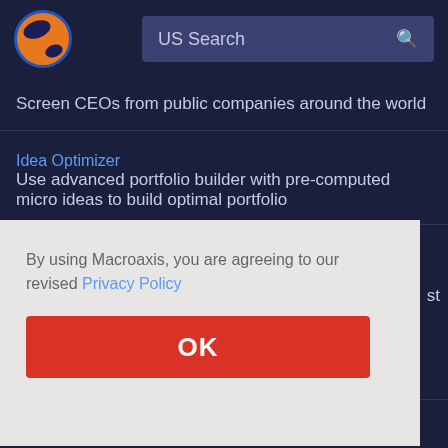US Search
Screen CEOs from public companies around the world
Idea Optimizer
Use advanced portfolio builder with pre-computed micro ideas to build optimal portfolio
Performance Analysis
By using Macroaxis, you are agreeing to our revised Privacy Policy
OK
Analyze risk-adjusted returns against different time